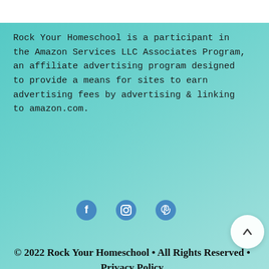Rock Your Homeschool is a participant in the Amazon Services LLC Associates Program, an affiliate advertising program designed to provide a means for sites to earn advertising fees by advertising & linking to amazon.com.
[Figure (other): Social media icons: Facebook, Instagram, Pinterest]
© 2022 Rock Your Homeschool • All Rights Reserved • Privacy Policy
AN ELITE CAFEMEDIA FAMILY & PARENTING PUBLISHER